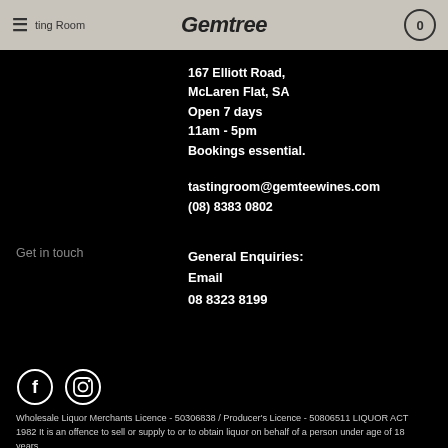≡ Tasting Room   Gemtree Wines   0
167 Elliott Road,
McLaren Flat, SA
Open 7 days
11am - 5pm
Bookings essential.
tastingroom@gemteewines.com
(08) 8383 0802
Get in touch
General Enquiries:
Email
08 8323 8199
[Figure (illustration): Facebook and Instagram social media icons (white circles with F and camera icons)]
Wholesale Liquor Merchants Licence - 50306838 / Producer's Licence - 50806511 LIQUOR ACT 1982 It is an offence to sell or supply to or to obtain liquor on behalf of a person under age of 18 years.